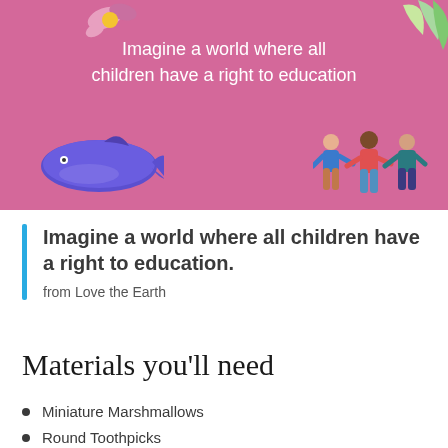[Figure (illustration): Pink/mauve hero banner with white centered text 'Imagine a world where all children have a right to education', decorated with a purple whale bottom-left, three illustrated people holding hands bottom-right, leaves top-right, and a flower top-left.]
Imagine a world where all children have a right to education.
from Love the Earth
Materials you'll need
Miniature Marshmallows
Round Toothpicks